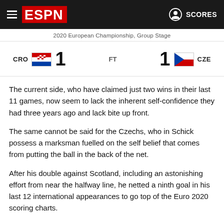ESPN — SCORES
2020 European Championship, Group Stage
[Figure (infographic): Scoreboard showing CRO 1 FT 1 CZE with Croatian and Czech flags]
The current side, who have claimed just two wins in their last 11 games, now seem to lack the inherent self-confidence they had three years ago and lack bite up front.
The same cannot be said for the Czechs, who in Schick possess a marksman fuelled on the self belief that comes from putting the ball in the back of the net.
After his double against Scotland, including an astonishing effort from near the halfway line, he netted a ninth goal in his last 12 international appearances to go top of the Euro 2020 scoring charts.